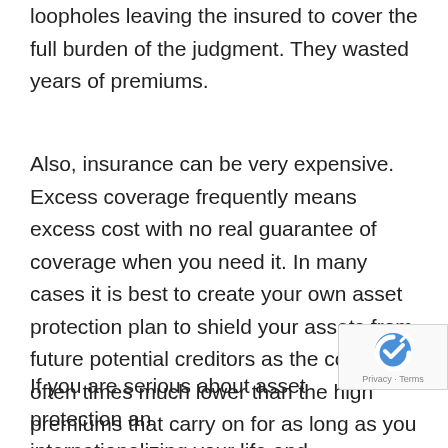loopholes leaving the insured to cover the full burden of the judgment. They wasted years of premiums.
Also, insurance can be very expensive. Excess coverage frequently means excess cost with no real guarantee of coverage when you need it. In many cases it is best to create your own asset protection plan to shield your assets from future potential creditors as the cost is often times much lower than the high premiums that carry on for as long as you have the policy.
If you are serious about asset protection and internationalizing your life and your assets, join us in Bocas del Toro, Panama next month